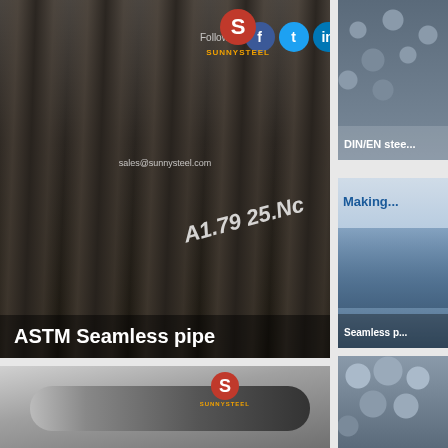[Figure (photo): Large photo of ASTM seamless steel pipes stacked together, dark industrial setting, with Sunny Steel logo and email sales@sunnysteel.com visible, pipe markings A1.79 25.Nc visible]
ASTM Seamless pipe
[Figure (photo): Photo of bundled blue/silver steel pipes viewed from end showing circular cross-sections, with caption DIN/EN steel]
DIN/EN steel
[Figure (photo): Photo showing industrial pipe manufacturing facility with text Making visible and Seamless p caption]
Seamless p
[Figure (photo): Sunny Steel logo photo showing a single dark steel round bar or rod on light gray background]
[Figure (photo): Photo of stacked round steel pipes viewed from end, silver/gray metallic color]